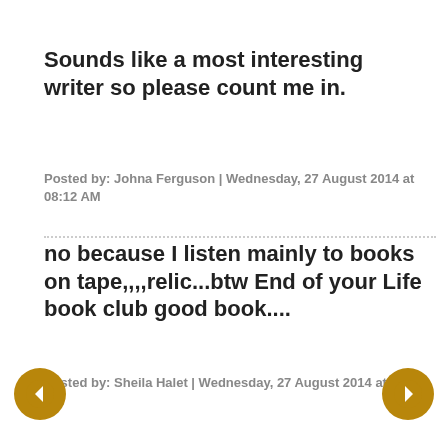Sounds like a most interesting writer so please count me in.
Posted by: Johna Ferguson | Wednesday, 27 August 2014 at 08:12 AM
no because I listen mainly to books on tape,,,,relic...btw End of your Life book club good book....
Posted by: Sheila Halet | Wednesday, 27 August 2014 at 08:12 AM